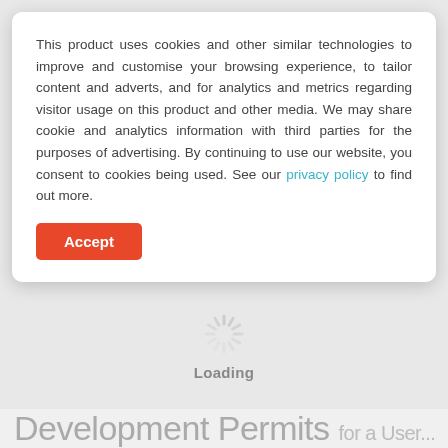This product uses cookies and other similar technologies to improve and customise your browsing experience, to tailor content and adverts, and for analytics and metrics regarding visitor usage on this product and other media. We may share cookie and analytics information with third parties for the purposes of advertising. By continuing to use our website, you consent to cookies being used. See our privacy policy to find out more.
Accept
[Figure (other): Loading spinner icon with radiating lines in gray, indicating page is loading]
Loading
Development Permits